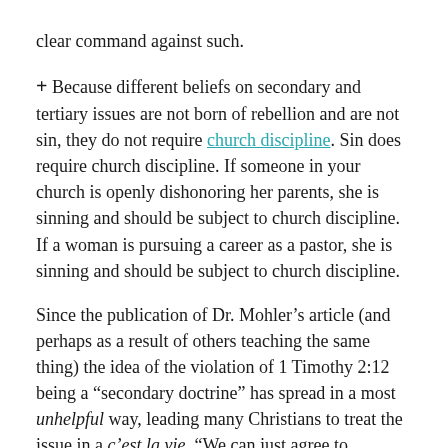clear command against such.
+ Because different beliefs on secondary and tertiary issues are not born of rebellion and are not sin, they do not require church discipline. Sin does require church discipline. If someone in your church is openly dishonoring her parents, she is sinning and should be subject to church discipline. If a woman is pursuing a career as a pastor, she is sinning and should be subject to church discipline.
Since the publication of Dr. Mohler’s article (and perhaps as a result of others teaching the same thing) the idea of the violation of 1 Timothy 2:12 being a “secondary doctrine” has spread in a most unhelpful way, leading many Christians to treat the issue in a c’est la vie, “We can just agree to disagree on this,” manner.